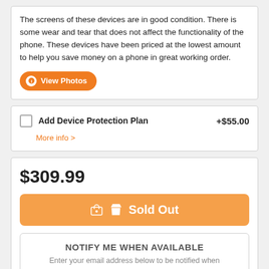The screens of these devices are in good condition. There is some wear and tear that does not affect the functionality of the phone. These devices have been priced at the lowest amount to help you save money on a phone in great working order.
View Photos
Add Device Protection Plan +$55.00
More info >
$309.99
Sold Out
NOTIFY ME WHEN AVAILABLE
Enter your email address below to be notified when